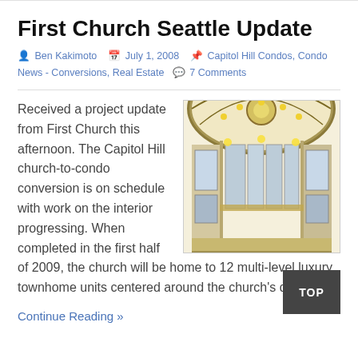First Church Seattle Update
Ben Kakimoto  July 1, 2008  Capitol Hill Condos, Condo News - Conversions, Real Estate  7 Comments
[Figure (illustration): Architectural rendering of the First Church Seattle interior showing a domed ceiling with ornate detailing, tall windows, and multi-level interior spaces in a warm color palette.]
Received a project update from First Church this afternoon. The Capitol Hill church-to-condo conversion is on schedule with work on the interior progressing. When completed in the first half of 2009, the church will be home to 12 multi-level luxury townhome units centered around the church's dome.
Continue Reading »